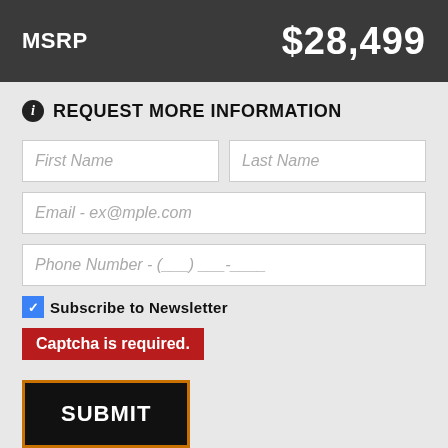MSRP   $28,499
REQUEST MORE INFORMATION
First Name
Last Name
Email - ex@mple.com
Phone Number - (___) ___-____
Subscribe to Newsletter
Captcha is required.
SUBMIT
By pressing SUBMIT, you agree that DX1, LLC and Horny Toad Harley-Davidson may call/text you at the number provided, for either informational or marketing purposes, using an automatic telephone dialing system or pre-recorded/artificial voices. Msg/data rates may apply. You don't need to consent as a condition of any